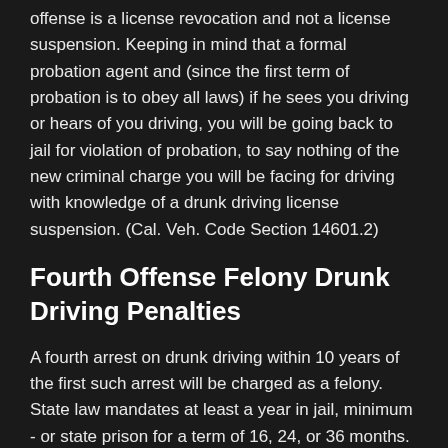offense is a license revocation and not a license suspension. Keeping in mind that a formal probation agent and (since the first term of probation is to obey all laws) if he sees you driving or hears of you driving, you will be going back to jail for violation of probation, to say nothing of the new criminal charge you will be facing for driving with knowledge of a drunk driving license suspension. (Cal. Veh. Code Section 14601.2)
Fourth Offense Felony Drunk Driving Penalties
A fourth arrest on drunk driving within 10 years of the first such arrest will be charged as a felony. State law mandates at least a year in jail, minimum - or state prison for a term of 16, 24, or 36 months. Yes, there is still the fine, but who cares about that. If you are convicted of a fourth offense drunk driving, your career is toast. Your right to vote is toast. Unless you have the right facts and get a Santa Clara County DUI Lawyer on your side, you should be expect to be imprisoned - for a